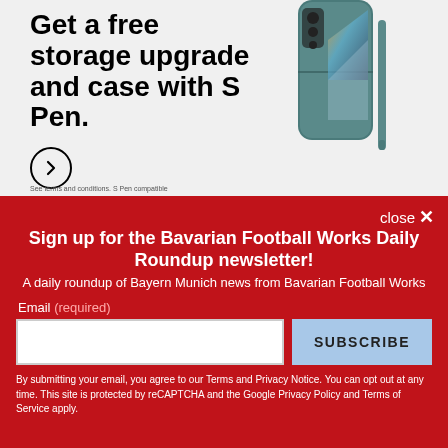[Figure (screenshot): Samsung Galaxy Z Fold advertisement showing a teal folding phone with S Pen. Text reads: Get a free storage upgrade and case with S Pen. A circular arrow button is shown. Fine print: See terms and conditions. S Pen compatible.]
Get a free storage upgrade and case with S Pen.
See terms and conditions. S Pen compatible
close ×
Sign up for the Bavarian Football Works Daily Roundup newsletter!
A daily roundup of Bayern Munich news from Bavarian Football Works
Email (required)
SUBSCRIBE
By submitting your email, you agree to our Terms and Privacy Notice. You can opt out at any time. This site is protected by reCAPTCHA and the Google Privacy Policy and Terms of Service apply.